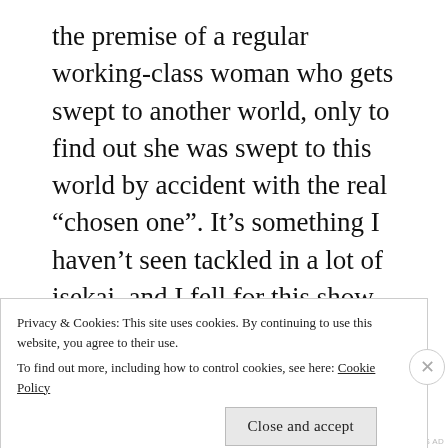the premise of a regular working-class woman who gets swept to another world, only to find out she was swept to this world by accident with the real “chosen one”. It’s something I haven’t seen tackled in a lot of isekai, and I fell for this show even more once she decided to sit back and do her own thing. She didn’t want to save the world or deal with some demon king, but instead, she wanted to make potions. Sei Takanashi, our lead character, ends up making the world she is in a better place by
Privacy & Cookies: This site uses cookies. By continuing to use this website, you agree to their use.
To find out more, including how to control cookies, see here: Cookie Policy
Close and accept